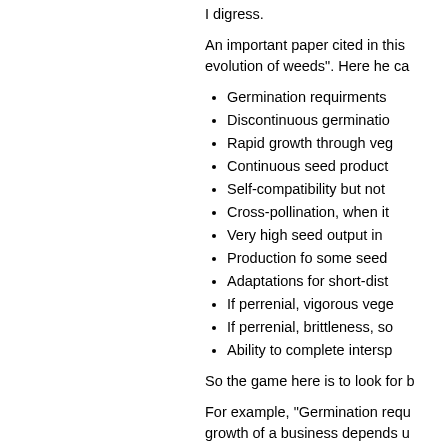I digress.
An important paper cited in this evolution of weeds". Here he ca
Germination requirments
Discontinuous germinatio
Rapid growth through veg
Continuous seed product
Self-compatibility but not
Cross-pollination, when it
Very high seed output in
Production fo some seed
Adaptations for short-dist
If perrenial, vigorous vege
If perrenial, brittleness, so
Ability to complete intersp
So the game here is to look for b
For example, "Germination requ growth of a business depends u product or service only has a sm examining the growth potential o service and appeal to (germinat shattering insight, but it might su one model system (Model 1 = W facilitates inductive reasoning ab
The second characteristic of an longevity of seed".  This refers t